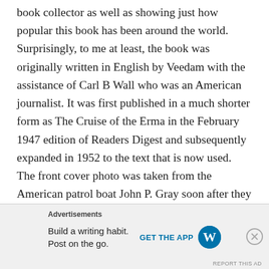book collector as well as showing just how popular this book has been around the world. Surprisingly, to me at least, the book was originally written in English by Veedam with the assistance of Carl B Wall who was an American journalist. It was first published in a much shorter form as The Cruise of the Erma in the February 1947 edition of Readers Digest and subsequently expanded in 1952 to the text that is now used. The front cover photo was taken from the American patrol boat John P. Gray soon after they had found the Erma and re-provisioned them for the final few days journey to an American port and journeys end.
Advertisements
Build a writing habit. Post on the go. GET THE APP